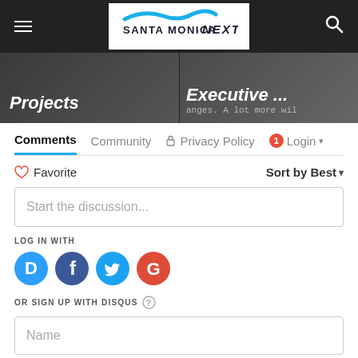Santa Monica NEXT — navigation header with hamburger menu and search icon
[Figure (screenshot): Two article thumbnail images side by side: left shows 'Projects' in italic text on dark background; right shows 'Executive ...' and 'anges. A lot more wil' text on dark background]
Comments
Community | Privacy Policy | 1 | Login
♡ Favorite
Sort by Best ▾
Start the discussion...
LOG IN WITH
[Figure (logo): Social login icons: Disqus (blue D), Facebook (dark blue f), Twitter (light blue bird), Google (red G)]
OR SIGN UP WITH DISQUS ?
Name